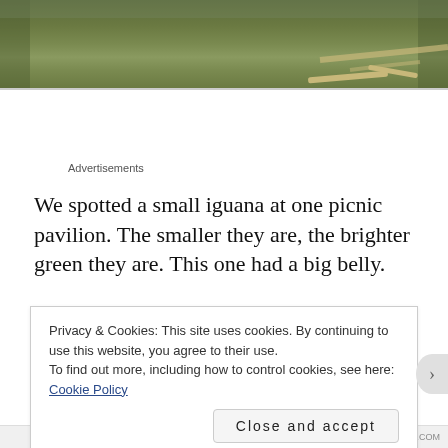[Figure (photo): Partial photo of a grassy park area with a pathway visible, cut off at top of page]
Advertisements
We spotted a small iguana at one picnic pavilion.  The smaller they are, the brighter green they are.  This one had a big belly.
Privacy & Cookies: This site uses cookies. By continuing to use this website, you agree to their use.
To find out more, including how to control cookies, see here: Cookie Policy

Close and accept